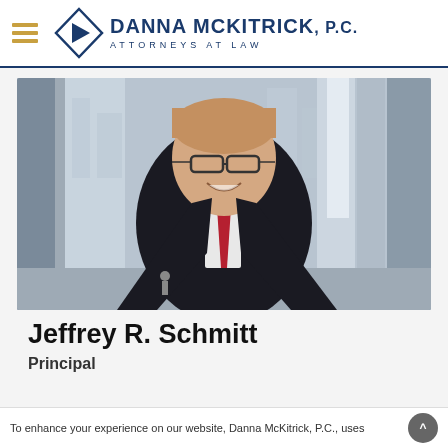Danna McKitrick, P.C. Attorneys at Law
[Figure (photo): Professional headshot of Jeffrey R. Schmitt, a man in a black suit with a red tie and glasses, smiling, with a city building background visible through large windows.]
Jeffrey R. Schmitt
Principal
To enhance your experience on our website, Danna McKitrick, P.C., uses